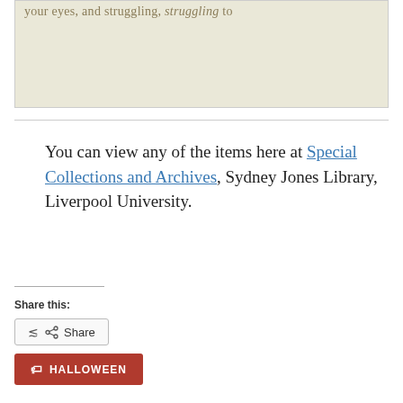[Figure (illustration): Partial view of a stylized illustrated page with text reading 'your eyes, and struggling, struggling to' in a decorative serif font on a cream/beige background]
You can view any of the items here at Special Collections and Archives, Sydney Jones Library, Liverpool University.
Share this:
Share
HALLOWEEN